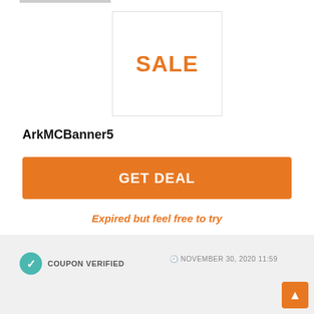[Figure (illustration): A white box with orange bold SALE text in the center, with a light gray border]
ArkMCBanner5
GET DEAL
Expired but feel free to try
COUPON VERIFIED
NOVEMBER 30, 2020 11:59